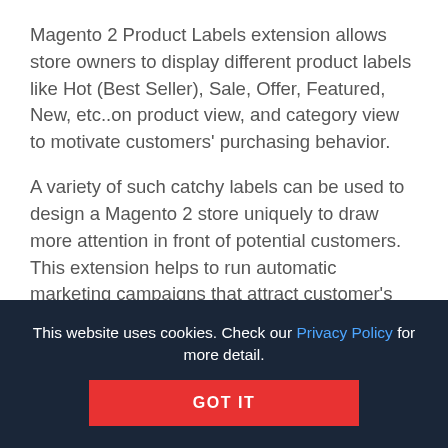Magento 2 Product Labels extension allows store owners to display different product labels like Hot (Best Seller), Sale, Offer, Featured, New, etc..on product view, and category view to motivate customers' purchasing behavior.
A variety of such catchy labels can be used to design a Magento 2 store uniquely to draw more attention in front of potential customers. This extension helps to run automatic marketing campaigns that attract customer's attention to special offers & featured/new products. It is the easiest way to increase sales and improve inventory management.
This website uses cookies. Check our Privacy Policy for more detail.
GOT IT